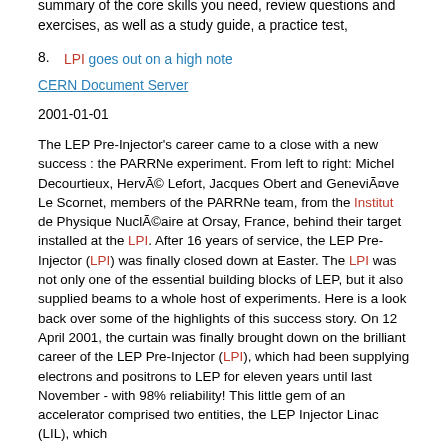summary of the core skills you need, review questions and exercises, as well as a study guide, a practice test,
8. LPI goes out on a high note
CERN Document Server
2001-01-01
The LEP Pre-Injector's career came to a close with a new success : the PARRNe experiment. From left to right: Michel Decourtieux, Hervé Lefort, Jacques Obert and Geneviève Le Scornet, members of the PARRNe team, from the Institut de Physique Nucléaire at Orsay, France, behind their target installed at the LPI. After 16 years of service, the LEP Pre-Injector (LPI) was finally closed down at Easter. The LPI was not only one of the essential building blocks of LEP, but it also supplied beams to a whole host of experiments. Here is a look back over some of the highlights of this success story. On 12 April 2001, the curtain was finally brought down on the brilliant career of the LEP Pre-Injector (LPI), which had been supplying electrons and positrons to LEP for eleven years until last November - with 98% reliability! This little gem of an accelerator comprised two entities, the LEP Injector Linac (LIL), which